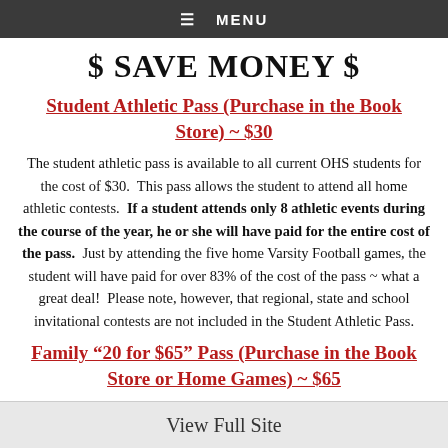≡ MENU
$ SAVE MONEY $
Student Athletic Pass (Purchase in the Book Store) ~ $30
The student athletic pass is available to all current OHS students for the cost of $30. This pass allows the student to attend all home athletic contests. If a student attends only 8 athletic events during the course of the year, he or she will have paid for the entire cost of the pass. Just by attending the five home Varsity Football games, the student will have paid for over 83% of the cost of the pass ~ what a great deal! Please note, however, that regional, state and school invitational contests are not included in the Student Athletic Pass.
Family “20 for $65” Pass (Purchase in the Book Store or Home Games) ~ $65
View Full Site